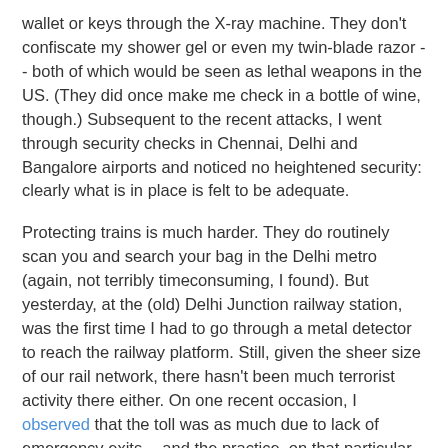wallet or keys through the X-ray machine. They don't confiscate my shower gel or even my twin-blade razor -- both of which would be seen as lethal weapons in the US. (They did once make me check in a bottle of wine, though.) Subsequent to the recent attacks, I went through security checks in Chennai, Delhi and Bangalore airports and noticed no heightened security: clearly what is in place is felt to be adequate.
Protecting trains is much harder. They do routinely scan you and search your bag in the Delhi metro (again, not terribly timeconsuming, I found). But yesterday, at the (old) Delhi Junction railway station, was the first time I had to go through a metal detector to reach the railway platform. Still, given the sheer size of our rail network, there hasn't been much terrorist activity there either. On one recent occasion, I observed that the toll was as much due to lack of emergency exits -- and the practice, on that particular train, of locking all doors at night (for "security", of course), converting it into a steel jail -- as due to lack of security. If terrorists were to target, say, a cinema hall, this will be equally true: despite the Uphaar tragedy, the need for emergency exits is just not